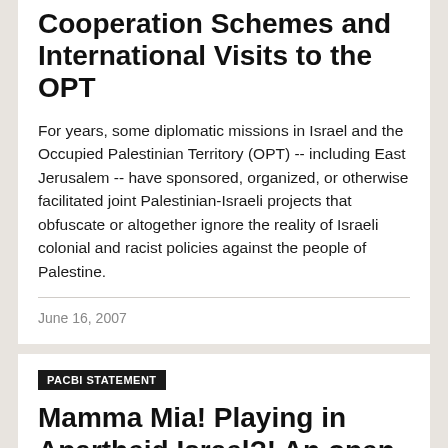Cooperation Schemes and International Visits to the OPT
For years, some diplomatic missions in Israel and the Occupied Palestinian Territory (OPT) -- including East Jerusalem -- have sponsored, organized, or otherwise facilitated joint Palestinian-Israeli projects that obfuscate or altogether ignore the reality of Israeli colonial and racist policies against the people of Palestine.
June 16, 2007
PACBI STATEMENT
Mamma Mia! Playing in Apartheid Israel?! An open letter from PACBI to the creators and cast